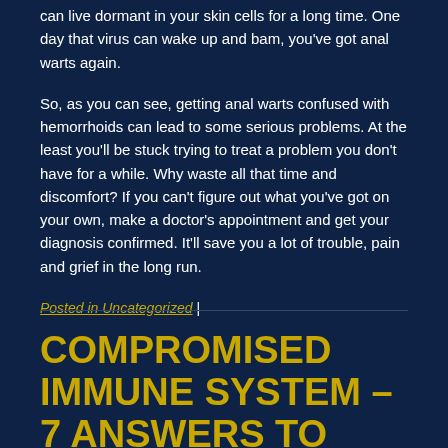can live dormant in your skin cells for a long time. One day that virus can wake up and bam, you've got anal warts again.
So, as you can see, getting anal warts confused with hemorrhoids can lead to some serious problems. At the least you'll be stuck trying to treat a problem you don't have for a while. Why waste all that time and discomfort? If you can't figure out what you've got on your own, make a doctor's appointment and get your diagnosis confirmed. It'll save you a lot of trouble, pain and grief in the long run.
Posted in Uncategorized |
COMPROMISED IMMUNE SYSTEM – 7 ANSWERS TO FREQUENTLY ASKED QUESTIONS